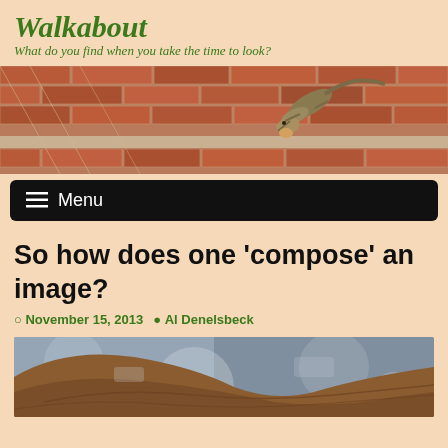Walkabout
What do you find when you take the time to look?
[Figure (photo): A lizard clinging to a brick wall, photographed close-up with red bricks visible in the background]
≡ Menu
So how does one ‘compose’ an image?
November 15, 2013  Al Denelsbeck
[Figure (photo): Close-up macro photograph of what appears to be a leaf or natural object with blurred background showing brown and grey tones]